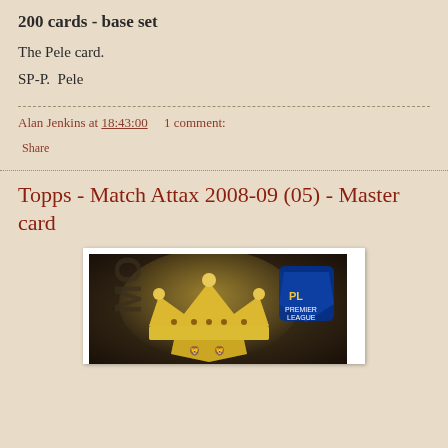200 cards - base set
The Pele card.
SP-P.  Pele
Alan Jenkins at 18:43:00    1 comment:
Share
Topps - Match Attax 2008-09 (05) - Master card
[Figure (photo): A Match Attax 2008-09 trading card showing a golden crown trophy on a dark background with the Premier League logo visible in the top right corner.]